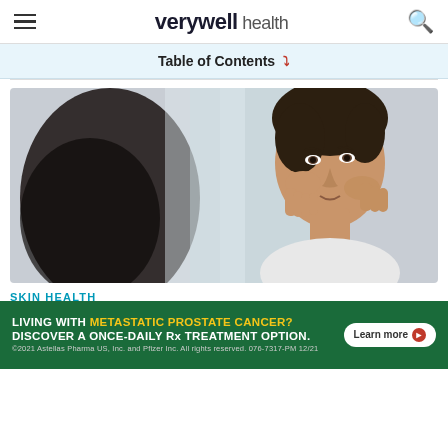verywell health
Table of Contents
[Figure (photo): A woman examining her face closely in a mirror, touching her cheek with both hands, concerned expression, bathroom setting]
SKIN HEALTH
Common Face Rash Causes and Treatment
Ad — LIVING WITH METASTATIC PROSTATE CANCER? DISCOVER A ONCE-DAILY Rx TREATMENT OPTION. ©2021 Astellas Pharma US, Inc. and Pfizer Inc. All rights reserved. 076-7317-PM 12/21 — Learn more